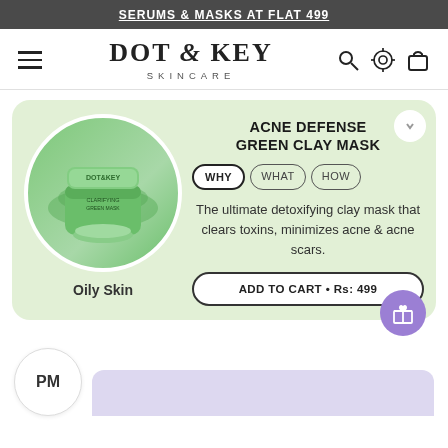SERUMS & MASKS AT FLAT 499
[Figure (logo): Dot & Key Skincare logo with hamburger menu and navigation icons (search, location pin, shopping bag)]
[Figure (photo): Acne Defense Green Clay Mask product jar on green clay background, circular crop]
ACNE DEFENSE GREEN CLAY MASK
WHY | WHAT | HOW tabs — WHY is active
The ultimate detoxifying clay mask that clears toxins, minimizes acne & acne scars.
Oily Skin
ADD TO CART • Rs: 499
PM